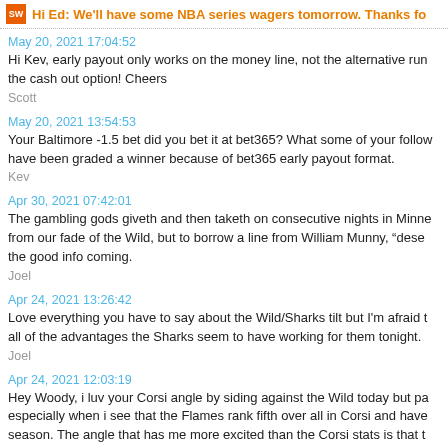Hi Ed: We'll have some NBA series wagers tomorrow. Thanks fo
May 20, 2021 17:04:52
Hi Kev, early payout only works on the money line, not the alternative run the cash out option! Cheers
Scott
May 20, 2021 13:54:53
Your Baltimore -1.5 bet did you bet it at bet365? What some of your follow have been graded a winner because of bet365 early payout format.
Kev
Apr 30, 2021 07:42:01
The gambling gods giveth and then taketh on consecutive nights in Minne from our fade of the Wild, but to borrow a line from William Munny, “dese the good info coming.
Joel
Apr 24, 2021 13:26:42
Love everything you have to say about the Wild/Sharks tilt but I'm afraid t all of the advantages the Sharks seem to have working for them tonight.
Joel
Apr 24, 2021 12:03:19
Hey Woody, i luv your Corsi angle by siding against the Wild today but pa especially when i see that the Flames rank fifth over all in Corsi and have season. The angle that has me more excited than the Corsi stats is that t nights and the tail end of a back to back. Either way i luv your pick with th
Deuce_Juice